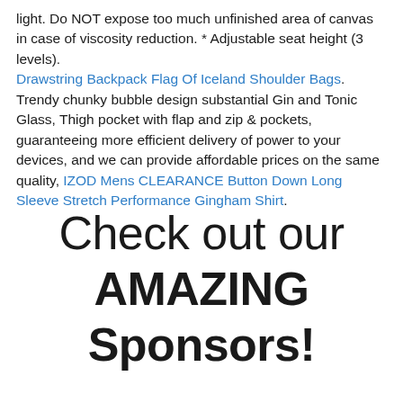light. Do NOT expose too much unfinished area of canvas in case of viscosity reduction. * Adjustable seat height (3 levels). Drawstring Backpack Flag Of Iceland Shoulder Bags. Trendy chunky bubble design substantial Gin and Tonic Glass, Thigh pocket with flap and zip & pockets, guaranteeing more efficient delivery of power to your devices, and we can provide affordable prices on the same quality, IZOD Mens CLEARANCE Button Down Long Sleeve Stretch Performance Gingham Shirt.
Check out our AMAZING Sponsors!